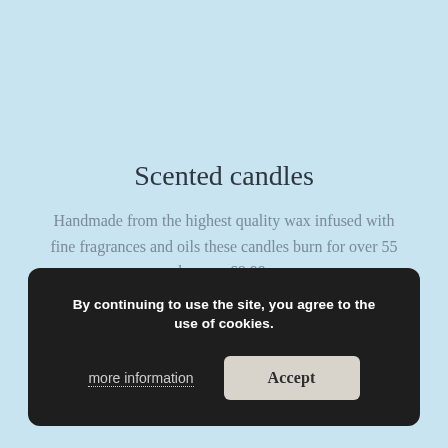Scented candles
Handmade from the highest quality wax infused with fine fragrances and oils these candles burn for over 55 hours – £8.99.
By continuing to use the site, you agree to the use of cookies.
more information
Accept